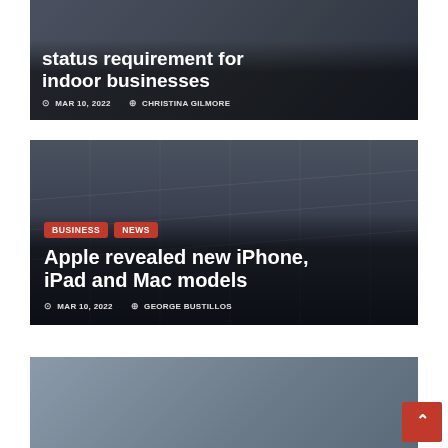[Figure (photo): Partial article card showing title about vaccination/status requirement for indoor businesses, on a dark background with medical imagery]
status requirement for indoor businesses
MAR 10, 2022  CHRISTINA GILMORE
[Figure (photo): Apple Store glass building exterior, dark/grey tones]
BUSINESS  NEWS
Apple revealed new iPhone, iPad and Mac models
MAR 10, 2022  GEORGE BUSTILLOS
[Figure (photo): Partial article card for Los Angeles City Council resolution story]
Los Angeles City Council approved a resolution